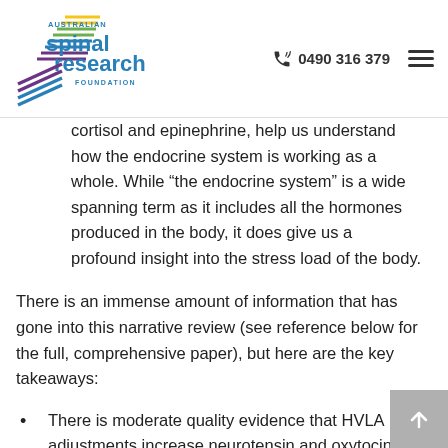Australian Spinal Research Foundation | 0490 316 379
cortisol and epinephrine, help us understand how the endocrine system is working as a whole. While “the endocrine system” is a wide spanning term as it includes all the hormones produced in the body, it does give us a profound insight into the stress load of the body.
There is an immense amount of information that has gone into this narrative review (see reference below for the full, comprehensive paper), but here are the key takeaways:
There is moderate quality evidence that HVLA adjustments increase neurotensin and oxytocin. The changes were immediate and short term, but indicative